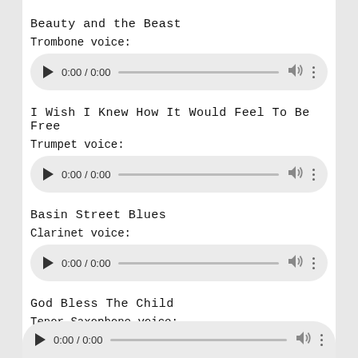Beauty and the Beast
Trombone voice:
[Figure (screenshot): Audio player showing 0:00 / 0:00 with play button, progress bar, volume icon, and more options icon]
I Wish I Knew How It Would Feel To Be Free
Trumpet voice:
[Figure (screenshot): Audio player showing 0:00 / 0:00 with play button, progress bar, volume icon, and more options icon]
Basin Street Blues
Clarinet voice:
[Figure (screenshot): Audio player showing 0:00 / 0:00 with play button, progress bar, volume icon, and more options icon]
God Bless The Child
Tenor Saxophone voice:
[Figure (screenshot): Partial audio player showing 0:00 / 0:00 with play button, volume icon, and more options icon (cut off at bottom)]